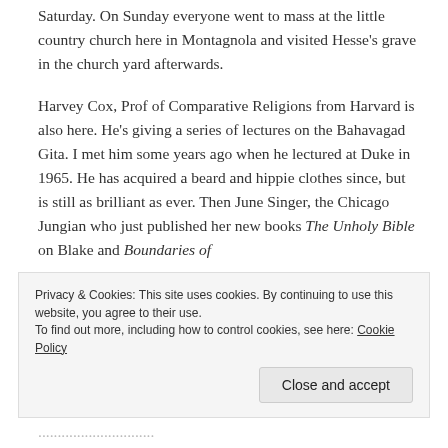Saturday. On Sunday everyone went to mass at the little country church here in Montagnola and visited Hesse's grave in the church yard afterwards.
Harvey Cox, Prof of Comparative Religions from Harvard is also here. He's giving a series of lectures on the Bahavagad Gita. I met him some years ago when he lectured at Duke in 1965. He has acquired a beard and hippie clothes since, but is still as brilliant as ever. Then June Singer, the Chicago Jungian who just published her new books The Unholy Bible on Blake and Boundaries of
Privacy & Cookies: This site uses cookies. By continuing to use this website, you agree to their use.
To find out more, including how to control cookies, see here: Cookie Policy
Close and accept